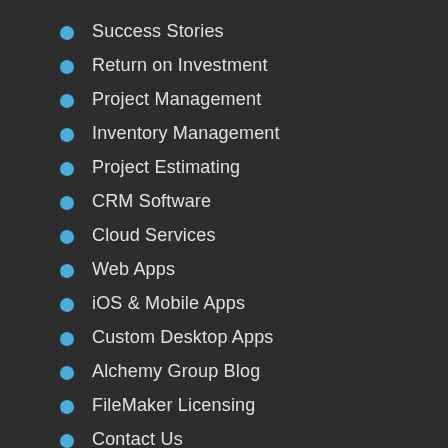Success Stories
Return on Investment
Project Management
Inventory Management
Project Estimating
CRM Software
Cloud Services
Web Apps
iOS & Mobile Apps
Custom Desktop Apps
Alchemy Group Blog
FileMaker Licensing
Contact Us